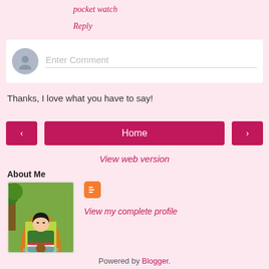pocket watch
Reply
[Figure (other): Comment input box with avatar placeholder and 'Enter Comment' placeholder text]
Thanks, I love what you have to say!
[Figure (other): Navigation bar with left arrow button, Home button, and right arrow button in dark pink/crimson color]
View web version
About Me
[Figure (illustration): Profile illustration showing an anime-style girl with dark hair reading, sitting under an arch with green and orange background]
View my complete profile
Powered by Blogger.